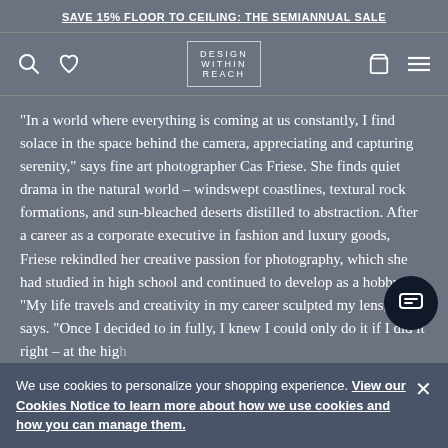SAVE 15% FLOOR TO CEILING: THE SEMIANNUAL SALE
[Figure (logo): Design Within Reach logo in bordered box with navigation icons (search, heart, cart, menu)]
“In a world where everything is coming at us constantly, I find solace in the space behind the camera, appreciating and capturing serenity,” says fine art photographer Cas Friese. She finds quiet drama in the natural world – windswept coastlines, textural rock formations, and sun-bleached deserts distilled to abstraction. After a career as a corporate executive in fashion and luxury goods, Friese rekindled her creative passion for photography, which she had studied in high school and continued to develop as a hobby. “My life travels and creativity in my career sculpted my lens,” she says. “Once I decided to in fully, I knew I could only do it if I did it right – at the high
quality. A deep dive into materials, printing techniques, and...
We use cookies to personalize your shopping experience. View our Cookies Notice to learn more about how we use cookies and how you can manage them.